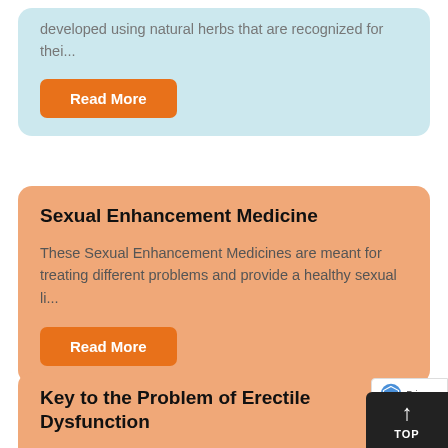developed using natural herbs that are recognized for thei...
Read More
Sexual Enhancement Medicine
These Sexual Enhancement Medicines are meant for treating different problems and provide a healthy sexual li...
Read More
Key to the Problem of Erectile Dysfunction
The Sildenafil tablets have surely saved the marriages of many couples by improving their sexual life. Sildenafil t...